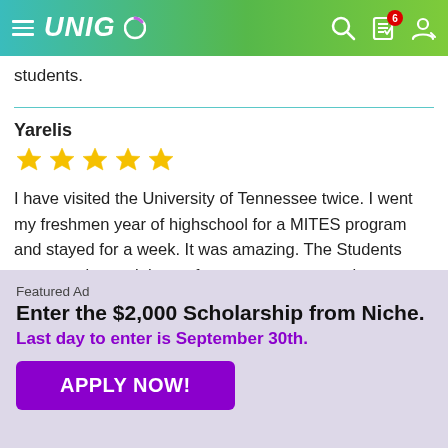UNIGO
students.
Yarelis
★★★★★
I have visited the University of Tennessee twice. I went my freshmen year of highschool for a MITES program and stayed for a week. It was amazing. The Students were so nice and the professors were extremely knowledgeable. I visited again the next summer to visit nd and she gave me a small tour. the campus is
Featured Ad
Enter the $2,000 Scholarship from Niche.
Last day to enter is September 30th.
APPLY NOW!